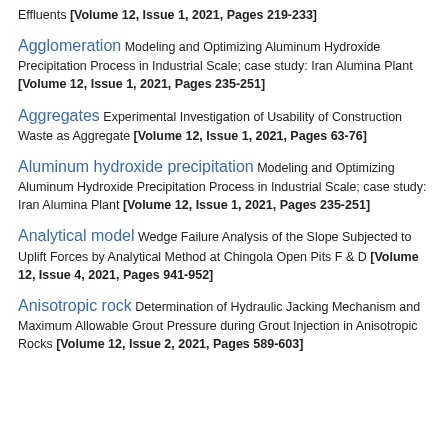Effluents [Volume 12, Issue 1, 2021, Pages 219-233]
Agglomeration Modeling and Optimizing Aluminum Hydroxide Precipitation Process in Industrial Scale; case study: Iran Alumina Plant [Volume 12, Issue 1, 2021, Pages 235-251]
Aggregates Experimental Investigation of Usability of Construction Waste as Aggregate [Volume 12, Issue 1, 2021, Pages 63-76]
Aluminum hydroxide precipitation Modeling and Optimizing Aluminum Hydroxide Precipitation Process in Industrial Scale; case study: Iran Alumina Plant [Volume 12, Issue 1, 2021, Pages 235-251]
Analytical model Wedge Failure Analysis of the Slope Subjected to Uplift Forces by Analytical Method at Chingola Open Pits F & D [Volume 12, Issue 4, 2021, Pages 941-952]
Anisotropic rock Determination of Hydraulic Jacking Mechanism and Maximum Allowable Grout Pressure during Grout Injection in Anisotropic Rocks [Volume 12, Issue 2, 2021, Pages 589-603]